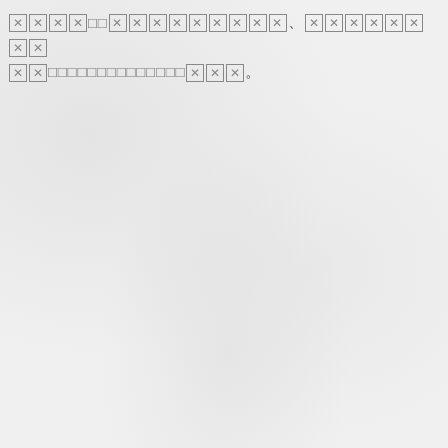[tofu characters] [tofu characters], [tofu characters] [tofu characters][small dots][tofu characters]。